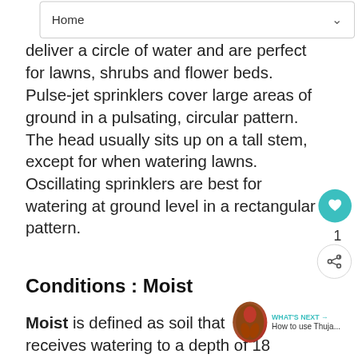Home
deliver a circle of water and are perfect for lawns, shrubs and flower beds. Pulse-jet sprinklers cover large areas of ground in a pulsating, circular pattern. The head usually sits up on a tall stem, except for when watering lawns. Oscillating sprinklers are best for watering at ground level in a rectangular pattern.
Conditions : Moist
Moist is defined as soil that receives watering to a depth of 18 inch deep, does not dry out, but does not have a drainage problem